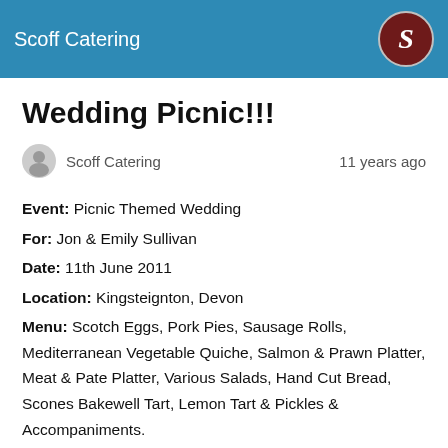Scoff Catering
Wedding Picnic!!!
Scoff Catering   11 years ago
Event: Picnic Themed Wedding
For: Jon & Emily Sullivan
Date: 11th June 2011
Location: Kingsteignton, Devon
Menu: Scotch Eggs, Pork Pies, Sausage Rolls, Mediterranean Vegetable Quiche, Salmon & Prawn Platter, Meat & Pate Platter, Various Salads, Hand Cut Bread, Scones Bakewell Tart, Lemon Tart & Pickles & Accompaniments.
What a fantastic & unusual event! A totally bespoke event. Our